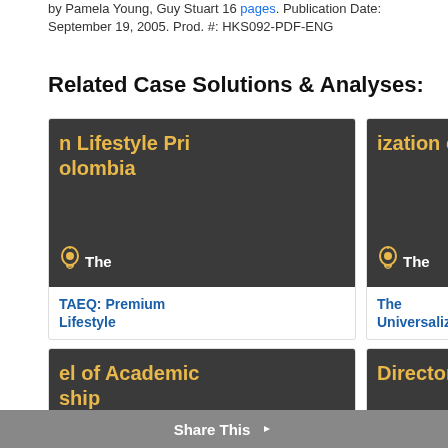by Pamela Young, Guy Stuart 16 pages. Publication Date: September 19, 2005. Prod. #: HKS092-PDF-ENG
Related Case Solutions & Analyses:
[Figure (illustration): Card thumbnail with dark background showing 'n Lifestyle Pri... olombia' text in yellow, with lightbulb logo and 'The' text]
TAEQ: Premium Lifestyle
[Figure (illustration): Card thumbnail with dark background showing 'ization of L Or...' text in yellow, with lightbulb logo and 'The' text]
The Universalizatio
[Figure (illustration): Card thumbnail with dark background showing 'el of Academic... ship' text in yellow, with lightbulb logo and 'The' text]
Process Model of Academic
[Figure (illustration): Card thumbnail with dark background showing 'Director Qualit...' text in yellow, with lightbulb logo and 'The' text]
Paul Char... Director